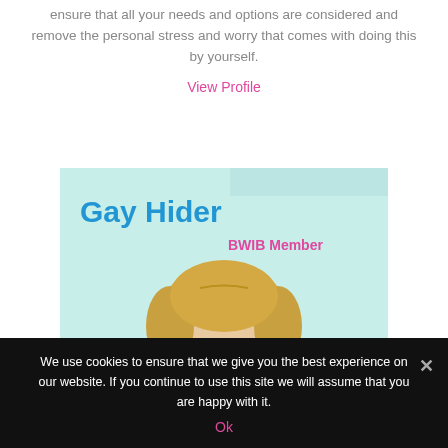ensure that all your needs and options are considered and remove the personal stress and worry that comes with doing this by yourself.
View Profile
[Figure (other): Profile card showing 'Gay Hider' in blue bold text, 'BWIB Member' in pink bold text, and a circular photo of a blonde woman, set on a light teal background.]
We use cookies to ensure that we give you the best experience on our website. If you continue to use this site we will assume that you are happy with it.
Ok